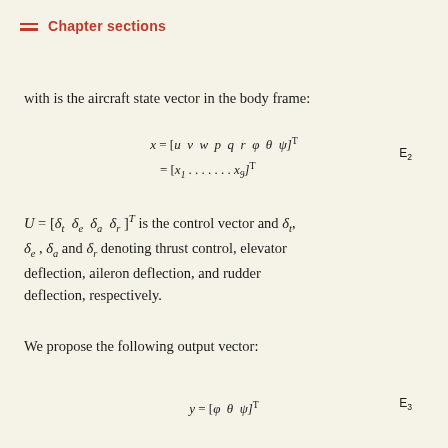Chapter sections
with is the aircraft state vector in the body frame:
U = [δ_t  δ_e  δ_a  δ_r]^T is the control vector and δ_t, δ_e, δ_a and δ_r denoting thrust control, elevator deflection, aileron deflection, and rudder deflection, respectively.
We propose the following output vector: